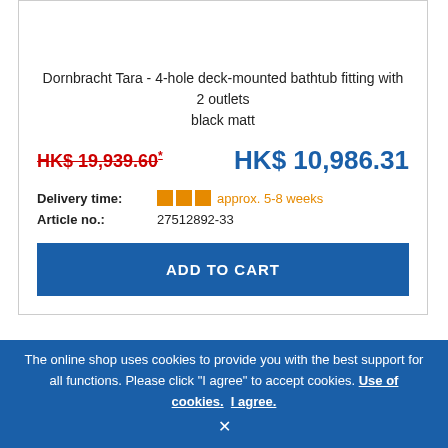Dornbracht Tara - 4-hole deck-mounted bathtub fitting with 2 outlets black matt
HK$ 19,939.60* HK$ 10,986.31
Delivery time: approx. 5-8 weeks
Article no.: 27512892-33
ADD TO CART
[Figure (logo): Dornbracht logo in bordered box]
-44%
The online shop uses cookies to provide you with the best support for all functions. Please click "I agree" to accept cookies. Use of cookies. I agree.